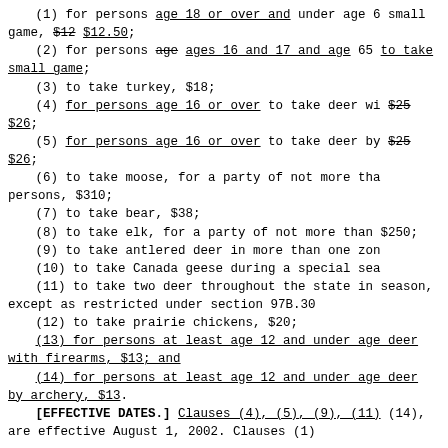(1) for persons age 18 or over and under age 6 small game, $12 $12.50;
(2) for persons age ages 16 and 17 and age 65 to take small game;
(3) to take turkey, $18;
(4) for persons age 16 or over to take deer wi $25 $26;
(5) for persons age 16 or over to take deer by $25 $26;
(6) to take moose, for a party of not more tha persons, $310;
(7) to take bear, $38;
(8) to take elk, for a party of not more than $250;
(9) to take antlered deer in more than one zon
(10) to take Canada geese during a special sea
(11) to take two deer throughout the state in season, except as restricted under section 97B.30
(12) to take prairie chickens, $20;
(13) for persons at least age 12 and under age deer with firearms, $13; and
(14) for persons at least age 12 and under age deer by archery, $13.
[EFFECTIVE DATES.] Clauses (4), (5), (9), (11) (14), are effective August 1, 2002. Clauses (1)